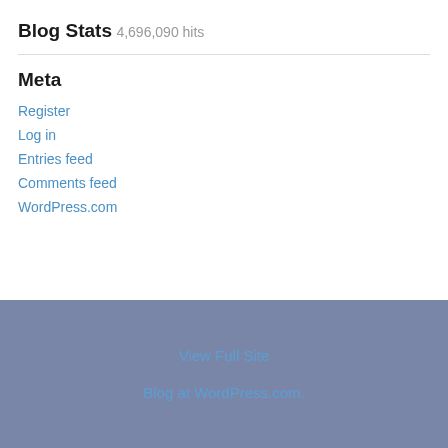Blog Stats
4,696,090 hits
Meta
Register
Log in
Entries feed
Comments feed
WordPress.com
View Full Site
Blog at WordPress.com.